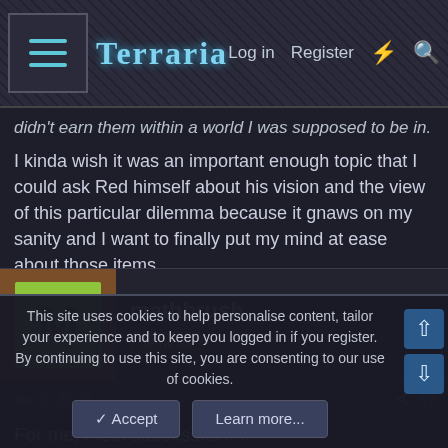Terraria — Log in  Register
didn't earn them within a world I was supposed to be in.
I kinda wish it was an important enough topic that I could ask Red himself about his vision and the view of this particular dilemma because it gnaws on my sanity and I want to finally put my mind at ease about those items.
mathbrush
Terrarian
Jun 2, 2020  #2
For me, I feel successful if I:
This site uses cookies to help personalise content, tailor your experience and to keep you logged in if you register.
By continuing to use this site, you are consenting to our use of cookies.
✓ Accept    Learn more...